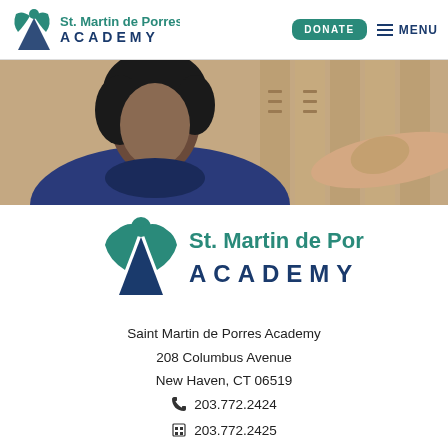St. Martin de Porres Academy — DONATE — MENU
[Figure (photo): Photo of a student in a blue uniform near school lockers]
[Figure (logo): St. Martin de Porres Academy logo — large centered version with figure icon, teal and dark blue text]
Saint Martin de Porres Academy
208 Columbus Avenue
New Haven, CT 06519
📞 203.772.2424
📠 203.772.2425
✉ info@saintmartinacademy.org